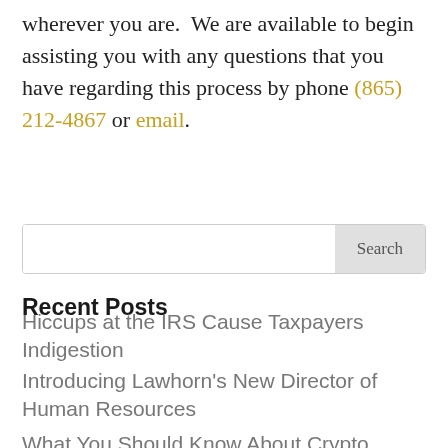wherever you are.  We are available to begin assisting you with any questions that you have regarding this process by phone (865) 212-4867 or email.
[Figure (other): Search input field with Search button]
Recent Posts
Hiccups at the IRS Cause Taxpayers Indigestion
Introducing Lawhorn's New Director of Human Resources
What You Should Know About Crypto